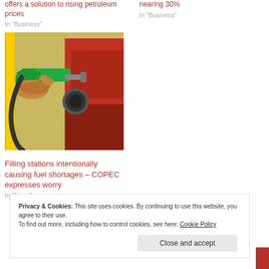offers a solution to rising petroleum prices
In "Business"
nearing 30%
In "Business"
[Figure (photo): A hand holding a green fuel nozzle being inserted into a vehicle fuel tank at a filling station]
Filling stations intentionally causing fuel shortages – COPEC expresses worry
In "News"
Privacy & Cookies: This site uses cookies. By continuing to use this website, you agree to their use.
To find out more, including how to control cookies, see here: Cookie Policy
Close and accept